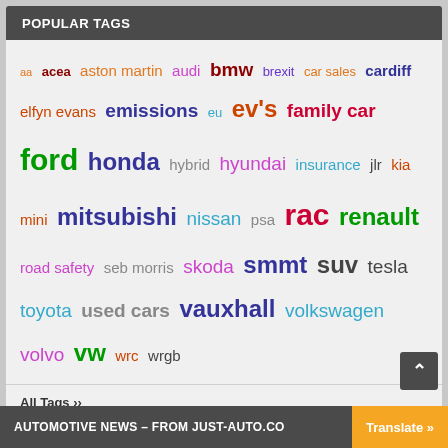POPULAR TAGS
aa acea aston martin audi bmw brexit car sales cardiff elfyn evans emissions eu ev's family car ford honda hybrid hyundai insurance jlr kia mini mitsubishi nissan psa rac renault road safety seb morris skoda smmt suv tesla toyota used cars vauxhall volkswagen volvo vw wrc wrgb
All Tags ››
AUTOMOTIVE NEWS – FROM JUST-AUTO.CO